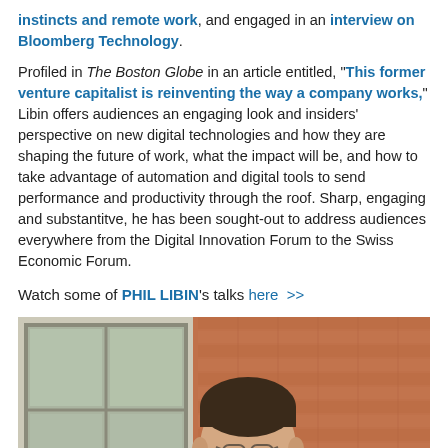instincts and remote work, and engaged in an interview on Bloomberg Technology.
Profiled in The Boston Globe in an article entitled, "This former venture capitalist is reinventing the way a company works," Libin offers audiences an engaging look and insiders' perspective on new digital technologies and how they are shaping the future of work, what the impact will be, and how to take advantage of automation and digital tools to send performance and productivity through the roof. Sharp, engaging and substantitve, he has been sought-out to address audiences everywhere from the Digital Innovation Forum to the Swiss Economic Forum.
Watch some of PHIL LIBIN's talks here >>
[Figure (photo): Portrait photo of Phil Libin, a man with short dark hair wearing glasses and a dark blazer, smiling. Background shows a brick wall and windows.]